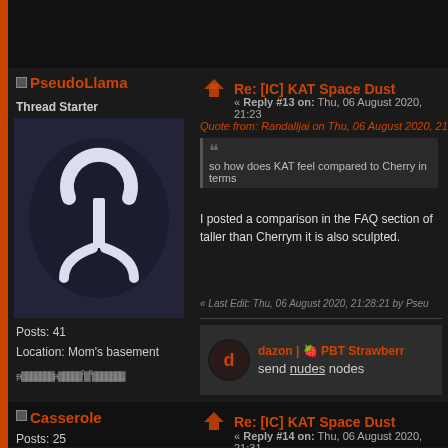PseudoLlama — Thread Starter
Posts: 41
Location: Mom's basement
Re: [IC] KAT Space Dust
« Reply #13 on: Thu, 06 August 2020, 21:23
Quote from: Randalljai on Thu, 06 August 2020, 21
so how does KAT feel compared to Cherry in terms
I posted a comparison in the FAQ section of taller than Cherrym it is also sculpted.
« Last Edit: Thu, 06 August 2020, 21:28:21 by Pseu
dazon | 🍓 PBT Strawberr
send nudes nodes
Casserole
Posts: 25
Re: [IC] KAT Space Dust
« Reply #14 on: Thu, 06 August 2020, 21:31